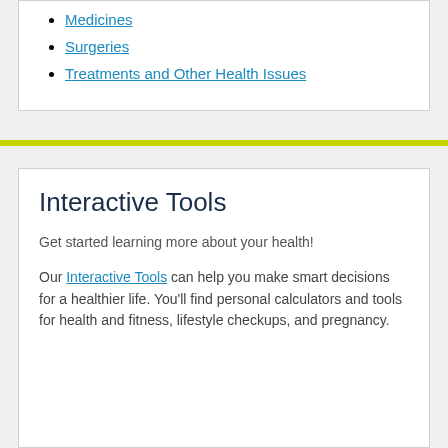Medicines
Surgeries
Treatments and Other Health Issues
Interactive Tools
Get started learning more about your health!
Our Interactive Tools can help you make smart decisions for a healthier life. You'll find personal calculators and tools for health and fitness, lifestyle checkups, and pregnancy.